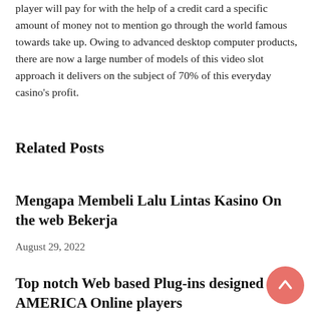player will pay for with the help of a credit card a specific amount of money not to mention go through the world famous towards take up. Owing to advanced desktop computer products, there are now a large number of models of this video slot approach it delivers on the subject of 70% of this everyday casino's profit.
Related Posts
Mengapa Membeli Lalu Lintas Kasino On the web Bekerja
August 29, 2022
Top notch Web based Plug-ins designed for AMERICA Online players